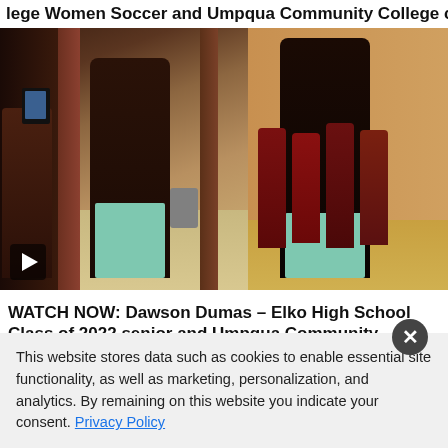College Women Soccer and Umpqua Community College commit
[Figure (photo): Video still showing basketball players in dark maroon jerseys and teal shorts walking through a school hallway lined with cheerleaders, with a play button overlay in the bottom left corner]
WATCH NOW: Dawson Dumas – Elko High School Class of 2022 senior and Umpqua Community College commit
This website stores data such as cookies to enable essential site functionality, as well as marketing, personalization, and analytics. By remaining on this website you indicate your consent. Privacy Policy